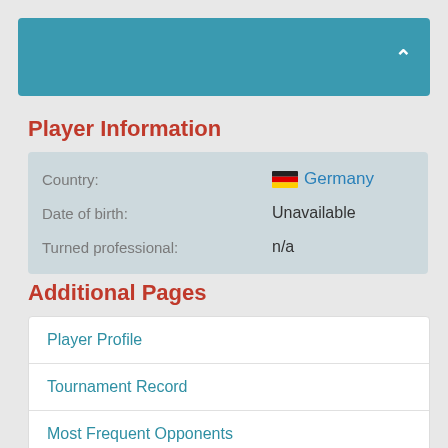[Figure (other): Teal/blue header bar with a white chevron (up arrow) on the right side]
Player Information
| Country: | 🇩🇪 Germany |
| Date of birth: | Unavailable |
| Turned professional: | n/a |
Additional Pages
Player Profile
Tournament Record
Most Frequent Opponents
Rounds Reached
Century Frequency